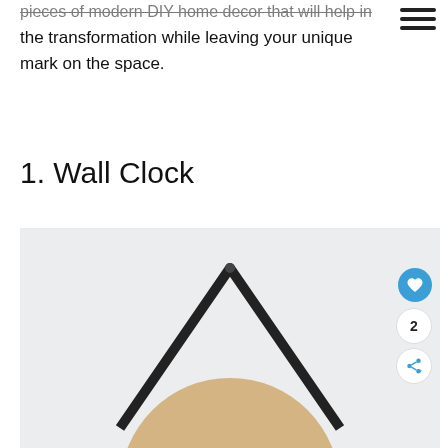☰
pieces of modern DIY home decor that will help in the transformation while leaving your unique mark on the space.
1. Wall Clock
[Figure (photo): Photo of a modern DIY wall clock with a circular wooden base and a black geometric triangular/arch frame mount against a light grey/white wall. Social action buttons (heart, count 2, share) overlay the top right of the image.]